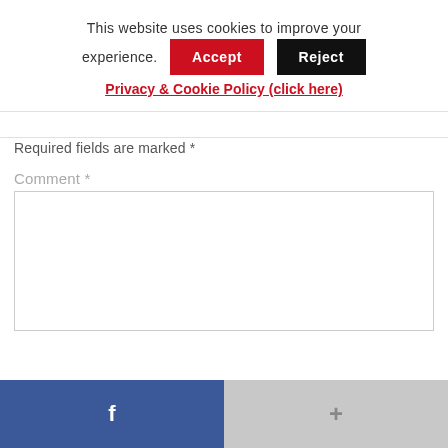This website uses cookies to improve your experience.
Accept | Reject
Privacy & Cookie Policy (click here)
Required fields are marked *
Comment *
[Figure (screenshot): Comment text area input box]
f  +